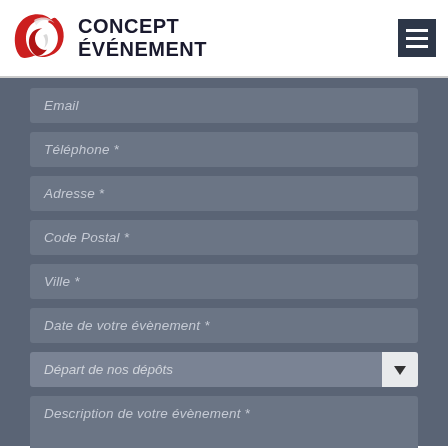[Figure (logo): Concept Événement logo with red swoosh emblem and bold dark text]
Email
Téléphone *
Adresse *
Code Postal *
Ville *
Date de votre évènement *
Départ de nos dépôts
Description de votre évènement *